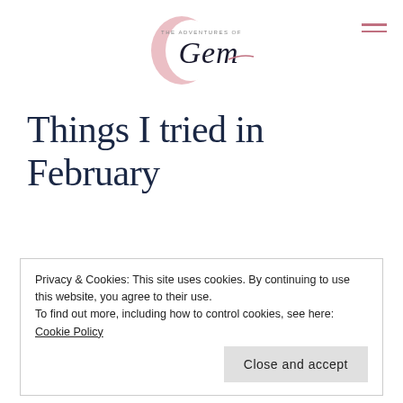The Adventures of Gem
Things I tried in February
Privacy & Cookies: This site uses cookies. By continuing to use this website, you agree to their use.
To find out more, including how to control cookies, see here: Cookie Policy
Close and accept